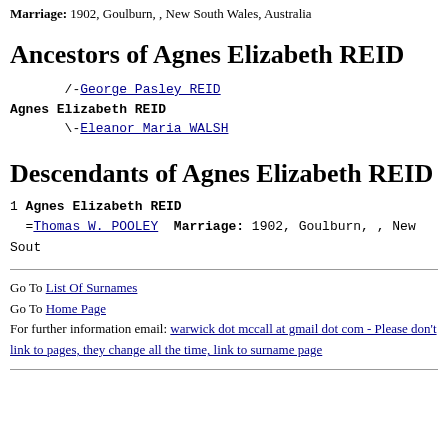Marriage: 1902, Goulburn, , New South Wales, Australia
Ancestors of Agnes Elizabeth REID
/-George Pasley REID
Agnes Elizabeth REID
\-Eleanor Maria WALSH
Descendants of Agnes Elizabeth REID
1 Agnes Elizabeth REID
  =Thomas W. POOLEY  Marriage: 1902, Goulburn, , New Sout
Go To List Of Surnames
Go To Home Page
For further information email: warwick dot mccall at gmail dot com - Please don't link to pages, they change all the time, link to surname page